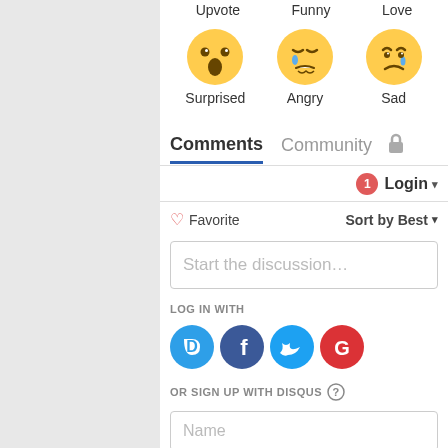[Figure (illustration): Row of emoji icons: Surprised, Angry, Sad with labels below each]
Surprised
Angry
Sad
Comments  Community  🔒
1  Login ▾
♡ Favorite   Sort by Best ▾
Start the discussion…
LOG IN WITH
[Figure (logo): Social login icons: Disqus (blue chat bubble with D), Facebook (dark blue circle with f), Twitter (light blue circle with bird), Google (red circle with G)]
OR SIGN UP WITH DISQUS ?
Name